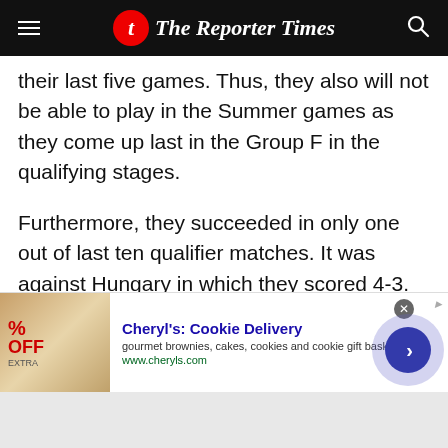The Reporter Times
their last five games. Thus, they also will not be able to play in the Summer games as they come up last in the Group F in the qualifying stages.
Furthermore, they succeeded in only one out of last ten qualifier matches. It was against Hungary in which they scored 4-3. Before this particular game, they lost one, drawn one and one more against Turkey, which was a goalless draw.
[Figure (screenshot): Advertisement banner for Cheryl's Cookie Delivery showing cookie image, red percent off text, ad title in blue, description text, URL, close button, and arrow button]